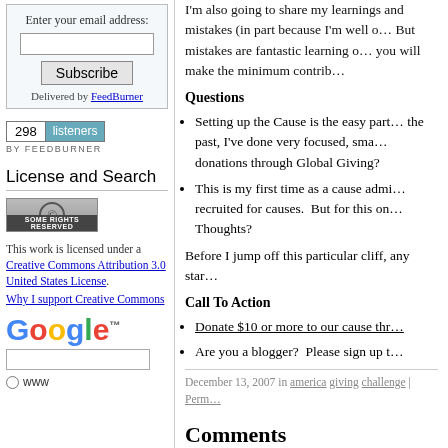Enter your email address:
Subscribe
Delivered by FeedBurner
[Figure (other): FeedBurner badge showing 298 listeners]
License and Search
[Figure (logo): Creative Commons Some Rights Reserved badge]
This work is licensed under a Creative Commons Attribution 3.0 United States License.
Why I support Creative Commons
[Figure (logo): Google logo]
I'm also going to share my learnings and mistakes (in part because I'm well o... But mistakes are fantastic learning o... you will make the minimum contrib...
Questions
Setting up the Cause is the easy part... the past, I've done very focused, sma... donations through Global Giving?
This is my first time as a cause admi... recruited for causes.  But for this on... Thoughts?
Before I jump off this particular cliff, any star...
Call To Action
Donate $10 or more to our cause thr...
Are you a blogger?  Please sign up t...
December 13, 2007 in america giving challenge | Perm...
Comments
You can follow this conversation by subscr...